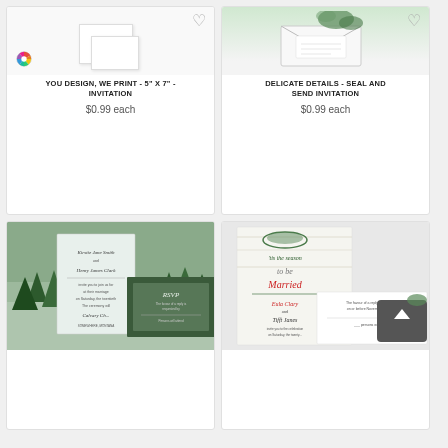[Figure (photo): Top-left product card: custom invitation with color wheel icon, heart favorite button, white card mock-up]
YOU DESIGN, WE PRINT - 5" X 7" - INVITATION
$0.99 each
[Figure (photo): Top-right product card: Delicate Details Seal and Send Invitation, photo of envelope with greenery, heart favorite button]
DELICATE DETAILS - SEAL AND SEND INVITATION
$0.99 each
[Figure (photo): Bottom-left product card: forest/pine tree watercolor wedding invitation with RSVP card]
[Figure (photo): Bottom-right product card: Tis the Season to be Married Christmas wedding invitation with RSVP card]